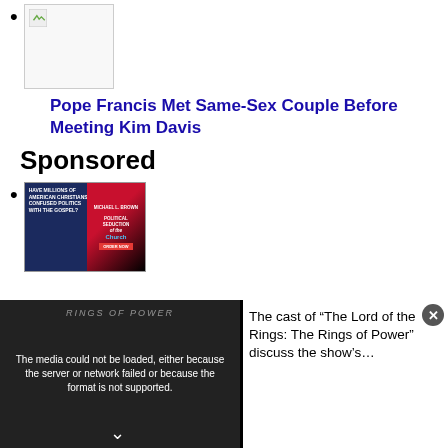[thumbnail image placeholder]
Pope Francis Met Same-Sex Couple Before Meeting Kim Davis
Sponsored
[advertisement image: The Political Seduction of the Church]
[Figure (screenshot): Video player overlay showing error message: The media could not be loaded, either because the server or network failed or because the format is not supported. RINGS OF POWER watermark visible. Right panel shows text about The Lord of the Rings: The Rings of Power cast discussing the show's...]
The media could not be loaded, either because the server or network failed or because the format is not supported.
The cast of “The Lord of the Rings: The Rings of Power” discuss the show’s…